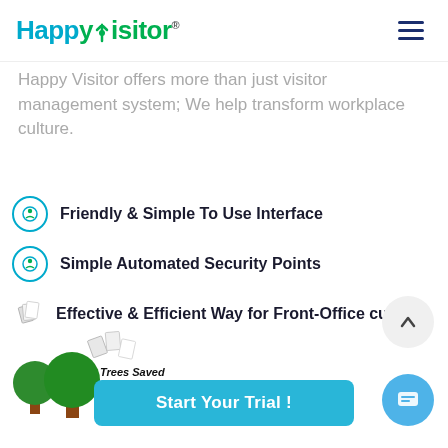HappyVisitor® [hamburger menu]
Happy Visitor offers more than just visitor management system; We help transform workplace culture.
Friendly & Simple To Use Interface
Simple Automated Security Points
Effective & Efficient Way for Front-Office curity
[Figure (infographic): Trees saved widget showing two green trees with paper documents flying, a dark green progress bar, label 'Trees Saved' and number '9,897']
Start Your Trial !